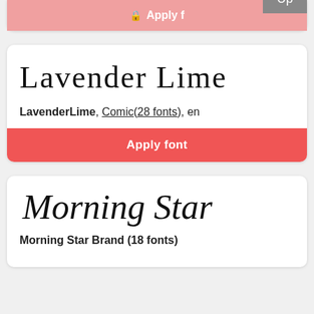[Figure (screenshot): Partial top card showing a pink 'Apply font' button with a lock icon and an 'Up' badge overlay]
[Figure (screenshot): Font card for LavenderLime showing font name preview in comic style, metadata 'LavenderLime, Comic(28 fonts), en', and a red Apply font button]
Lavender Lime
LavenderLime, Comic(28 fonts), en
Apply font
[Figure (screenshot): Partial font card for Morning Star showing the font name in a handwritten script style]
Morning Star
Morning Star Brand (18 fonts)